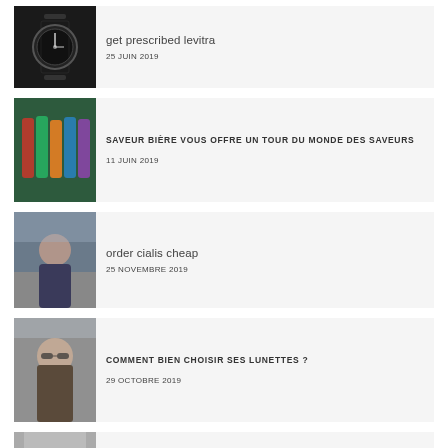[Figure (photo): Black and white photo of a watch with NATO strap]
get prescribed levitra
25 JUIN 2019
[Figure (photo): Colorful beer bottles arranged together]
SAVEUR BIÈRE VOUS OFFRE UN TOUR DU MONDE DES SAVEURS
11 JUIN 2019
[Figure (photo): Man standing near a fountain in winter clothing]
order cialis cheap
25 NOVEMBRE 2019
[Figure (photo): Young man wearing glasses, portrait]
COMMENT BIEN CHOISIR SES LUNETTES ?
29 OCTOBRE 2019
[Figure (photo): Partial image at bottom of page]